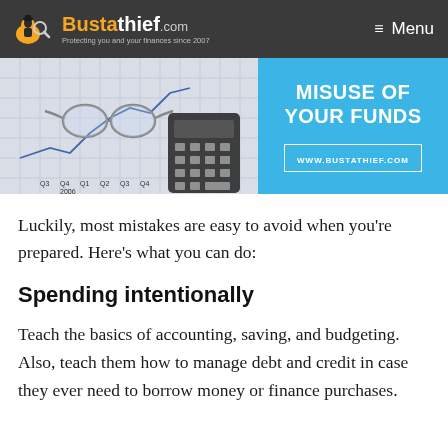Bustathief.com — Protecting you and your finances since 2007 | Menu
[Figure (infographic): Banner image showing glasses on financial chart paper next to a calculator on the left, and a blue panel on the right with bold white text 'MISUSE OF YOUR FUNDS' and URL box 'WWW.BUSTATHIEF.COM']
Luckily, most mistakes are easy to avoid when you're prepared. Here's what you can do:
Spending intentionally
Teach the basics of accounting, saving, and budgeting. Also, teach them how to manage debt and credit in case they ever need to borrow money or finance purchases.